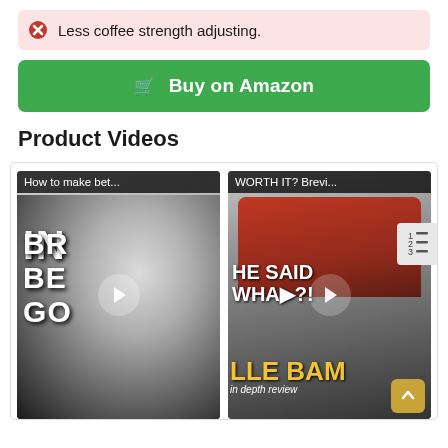Less coffee strength adjusting.
Buy on Amazon
Product Videos
[Figure (screenshot): Two video thumbnails side by side. Left: 'How to make bet...' with text IN, BR, BE, GO over a black and white espresso machine image with play button. Right: 'WORTH IT? Brevi...' showing a man in red shirt with text HE SAID, WHA?, LLE BAM, in depth review, with play button.]